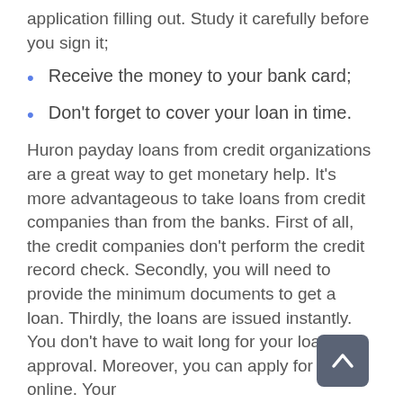application filling out. Study it carefully before you sign it;
Receive the money to your bank card;
Don't forget to cover your loan in time.
Huron payday loans from credit organizations are a great way to get monetary help. It's more advantageous to take loans from credit companies than from the banks. First of all, the credit companies don't perform the credit record check. Secondly, you will need to provide the minimum documents to get a loan. Thirdly, the loans are issued instantly. You don't have to wait long for your loan rec approval. Moreover, you can apply for a loan online. Your
Apply Now
Applying does NOT affect your credit score!
No credit check to apply.